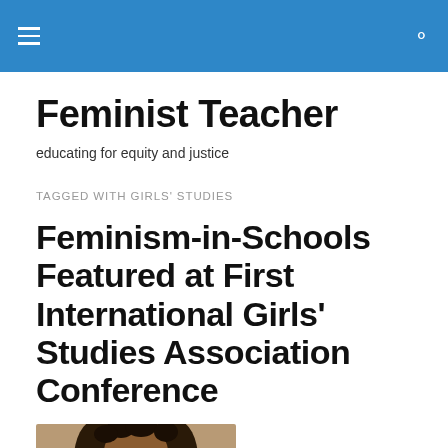Feminist Teacher
educating for equity and justice
TAGGED WITH GIRLS' STUDIES
Feminism-in-Schools Featured at First International Girls' Studies Association Conference
[Figure (photo): Portrait photo of a person with curly hair, partially visible, cropped at bottom of page.]